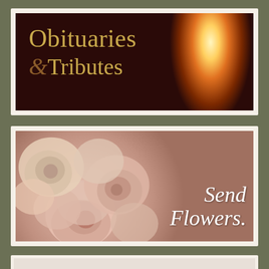[Figure (illustration): Dark brown banner with candle flames on the right side and gold/tan serif text reading 'Obituaries & Tributes' on the left. The ampersand is in a darker brown italic style.]
[Figure (illustration): Light banner featuring soft pink roses on a pale blue-green background with white italic cursive text reading 'Send Flowers.' on the right side.]
[Figure (illustration): Partial third banner visible at the very bottom of the page with a cream/beige background.]